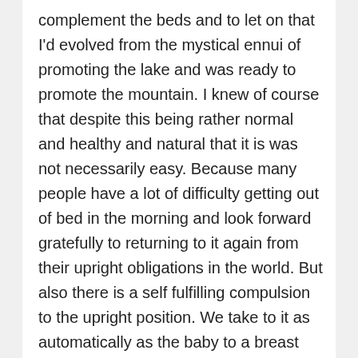complement the beds and to let on that I'd evolved from the mystical ennui of promoting the lake and was ready to promote the mountain. I knew of course that despite this being rather normal and healthy and natural that it is was not necessarily easy. Because many people have a lot of difficulty getting out of bed in the morning and look forward gratefully to returning to it again from their upright obligations in the world. But also there is a self fulfilling compulsion to the upright position. We take to it as automatically as the baby to a breast and feel the better for it. And for all its beauty or comfort the lake or bed will never inspire the kind of whole hearted compulsion that say the building of a cathedral did in a medieval town, or the climbing of Mt. Everest, or that the space program has in America, or that building of the tower did in